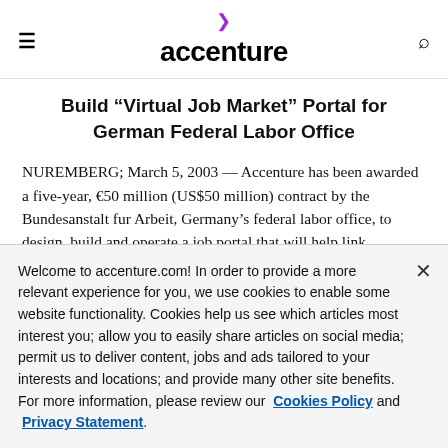accenture
Build “Virtual Job Market” Portal for German Federal Labor Office
NUREMBERG; March 5, 2003 — Accenture has been awarded a five-year, €50 million (US$50 million) contract by the Bundesanstalt fur Arbeit, Germany’s federal labor office, to design, build and operate a job portal that will help link employers and job seekers with officials at Germany’s labor office via the Internet. The portal project is part of a larger package of measures...
Welcome to accenture.com! In order to provide a more relevant experience for you, we use cookies to enable some website functionality. Cookies help us see which articles most interest you; allow you to easily share articles on social media; permit us to deliver content, jobs and ads tailored to your interests and locations; and provide many other site benefits. For more information, please review our Cookies Policy and Privacy Statement.